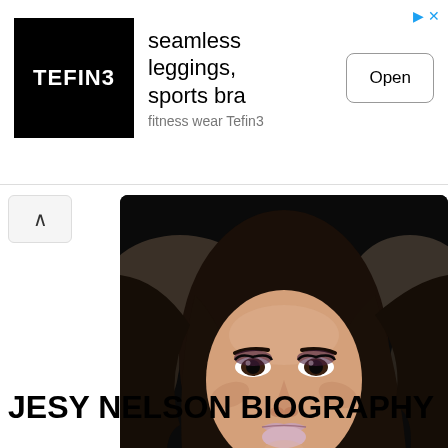[Figure (other): Advertisement banner for Tefin3 fitness wear showing logo, text 'seamless leggings, sports bra' and 'fitness wear Tefin3', with an Open button]
[Figure (photo): Portrait photo of Jesy Nelson, a young woman with long dark wavy hair, wearing an orange outfit, against a blurred crowd background]
Jesy Nelson Biography Credit-Jesy Nelson
JESY NELSON BIOGRAPHY